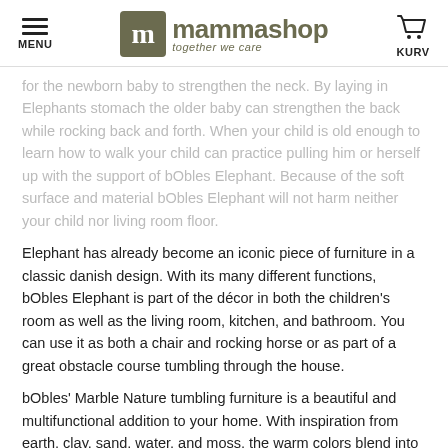MENU | mammashop together we care | KURV
for the newborn baby to strengthen the neck. By laying in Elephants stomach the older baby can strengthen the back while rocking back and forth. When your child is old enough to learn how to walk your child can practice pulling him or herself up with the support of bObles Elephant. Because of the soft surface and material bObles Elephant will not harm neither your child nor living room floor.
Elephant has already become an iconic piece of furniture in a classic danish design. With its many different functions, bObles Elephant is part of the décor in both the children's room as well as the living room, kitchen, and bathroom. You can use it as both a chair and rocking horse or as part of a great obstacle course tumbling through the house.
bObles' Marble Nature tumbling furniture is a beautiful and multifunctional addition to your home. With inspiration from earth, clay, sand, water, and moss, the warm colors blend into